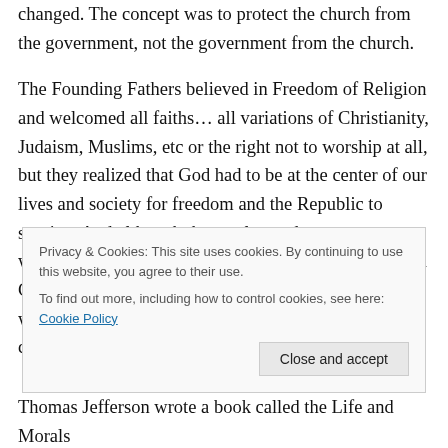changed. The concept was to protect the church from the government, not the government from the church.
The Founding Fathers believed in Freedom of Religion and welcomed all faiths… all variations of Christianity, Judaism, Muslims, etc or the right not to worship at all, but they realized that God had to be at the center of our lives and society for freedom and the Republic to survive. And although they welcomed everyone to worship as they pleased, this Country was founded as a Christian Nation and the notion that they people we welcomed to come for freedom then telling us that we could no longer worship
Privacy & Cookies: This site uses cookies. By continuing to use this website, you agree to their use.
To find out more, including how to control cookies, see here: Cookie Policy
Close and accept
Thomas Jefferson wrote a book called the Life and Morals